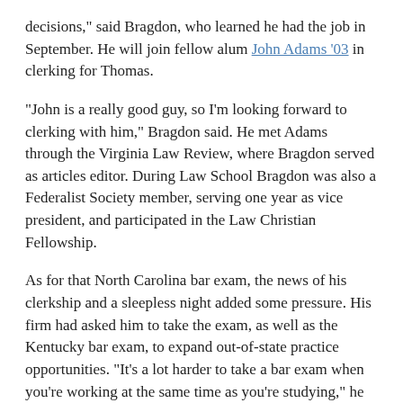decisions," said Bragdon, who learned he had the job in September. He will join fellow alum John Adams '03 in clerking for Thomas.
"John is a really good guy, so I'm looking forward to clerking with him," Bragdon said. He met Adams through the Virginia Law Review, where Bragdon served as articles editor. During Law School Bragdon was also a Federalist Society member, serving one year as vice president, and participated in the Law Christian Fellowship.
As for that North Carolina bar exam, the news of his clerkship and a sleepless night added some pressure. His firm had asked him to take the exam, as well as the Kentucky bar exam, to expand out-of-state practice opportunities. "It's a lot harder to take a bar exam when you're working at the same time as you're studying," he said. But no surprise for a future Supreme Court clerk — he still passed.